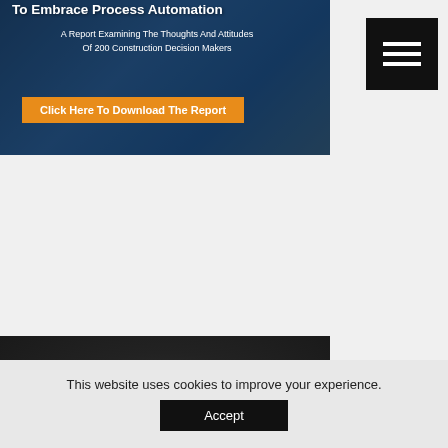[Figure (screenshot): Construction report banner with dark blue overlay background showing text about process automation report for 200 construction decision makers, with orange download button]
[Figure (logo): S2 Defence logo - teal/turquoise S2 letters above white DEFENCE text on dark grey background with helicopter silhouette]
This website uses cookies to improve your experience.
[Figure (screenshot): Accept button (black background, white text) for cookie consent]